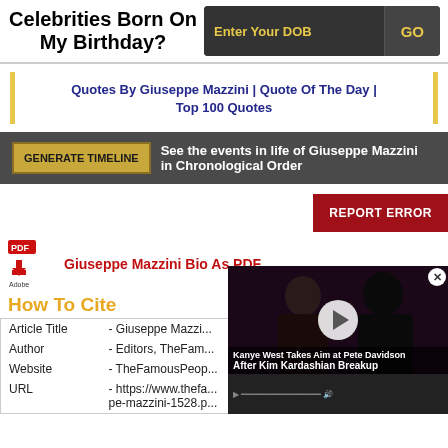Celebrities Born On My Birthday?
Enter Your DOB | GO
Quotes By Giuseppe Mazzini | Quote Of The Day | Top 100 Quotes
GENERATE TIMELINE  See the events in life of Giuseppe Mazzini in Chronological Order
REPORT ERROR
[Figure (logo): Adobe PDF icon]
Giuseppe Mazzini Bio As PDF
How To Cite
| Article Title | - Giuseppe Mazzi... |
| Author | - Editors, TheFam... |
| Website | - TheFamousPeop... |
| URL | - https://www.thefa...
pe-mazzini-1528.p... |
[Figure (screenshot): Video overlay: Kanye West Takes Aim at Pete Davidson After Kim Kardashian Breakup]